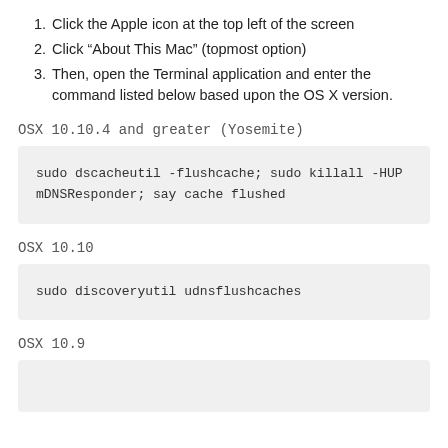1. Click the Apple icon at the top left of the screen
2. Click “About This Mac” (topmost option)
3. Then, open the Terminal application and enter the command listed below based upon the OS X version.
OSX 10.10.4 and greater (Yosemite)
sudo dscacheutil -flushcache; sudo killall -HUP mDNSResponder; say cache flushed
OSX 10.10
sudo discoveryutil udnsflushcaches
OSX 10.9